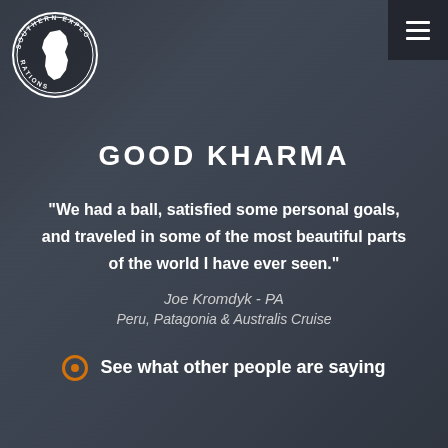[Figure (logo): Southern Explorations circular logo with South America map outline and text around the border]
GOOD KHARMA
“We had a ball, satisfied some personal goals, and traveled in some of the most beautiful parts of the world I have ever seen.”
Joe Kromdyk - PA
Peru, Patagonia & Australis Cruise
See what other people are saying